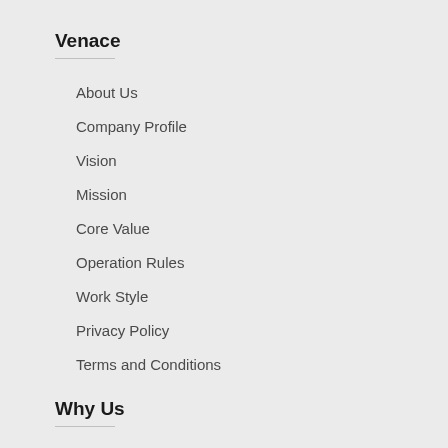Venace
About Us
Company Profile
Vision
Mission
Core Value
Operation Rules
Work Style
Privacy Policy
Terms and Conditions
Why Us
Cost and Price
Customer Satisfaction